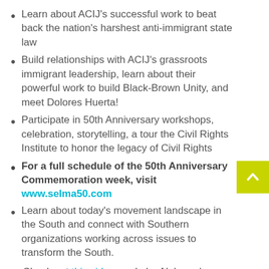Learn about ACIJ's successful work to beat back the nation's harshest anti-immigrant state law
Build relationships with ACIJ's grassroots immigrant leadership, learn about their powerful work to build Black-Brown Unity, and meet Dolores Huerta!
Participate in 50th Anniversary workshops, celebration, storytelling, a tour the Civil Rights Institute to honor the legacy of Civil Rights
For a full schedule of the 50th Anniversary Commemoration week, visit www.selma50.com
Learn about today's movement landscape in the South and connect with Southern organizations working across issues to transform the South.
Check out this video made by Alabama's